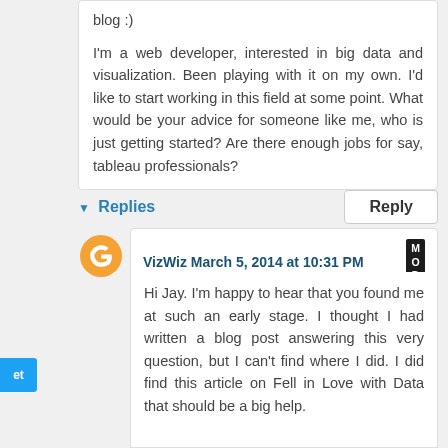blog :)

I'm a web developer, interested in big data and visualization. Been playing with it on my own. I'd like to start working in this field at some point. What would be your advice for someone like me, who is just getting started? Are there enough jobs for say, tableau professionals?
Replies
Reply
VizWiz March 5, 2014 at 10:31 PM
Hi Jay. I'm happy to hear that you found me at such an early stage. I thought I had written a blog post answering this very question, but I can't find where I did. I did find this article on Fell in Love with Data that should be a big help.